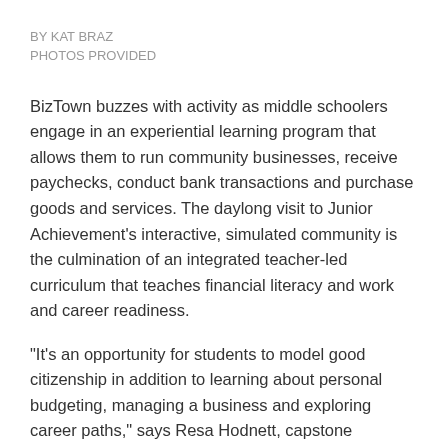BY KAT BRAZ
PHOTOS PROVIDED
BizTown buzzes with activity as middle schoolers engage in an experiential learning program that allows them to run community businesses, receive paychecks, conduct bank transactions and purchase goods and services. The daylong visit to Junior Achievement’s interactive, simulated community is the culmination of an integrated teacher-led curriculum that teaches financial literacy and work and career readiness.
“It’s an opportunity for students to model good citizenship in addition to learning about personal budgeting, managing a business and exploring career paths,” says Resa Hodnett, capstone manager at Greater Lafayette JA. “Prior to arriving at BizTown, the students have learned about business operating expenses, how payroll works, how to manage their